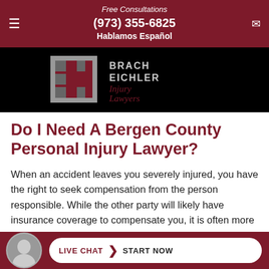Free Consultations
(973) 355-6825
Hablamos Español
[Figure (logo): Brach Eichler Injury Lawyers logo — stylized 'BE' monogram in red/grey grid on black background with text 'BRACH EICHLER Injury Lawyers']
Do I Need A Bergen County Personal Injury Lawyer?
When an accident leaves you severely injured, you have the right to seek compensation from the person responsible. While the other party will likely have insurance coverage to compensate you, it is often more challenging than it should be to get the money you